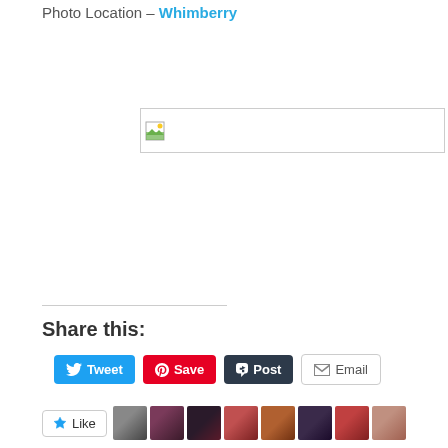Photo Location – Whimberry
[Figure (photo): Broken/missing image placeholder with small landscape icon, shown as empty bordered box]
Share this:
[Figure (screenshot): Share buttons row: Tweet (blue), Save (red Pinterest), Post (dark Tumblr), Email (outlined)]
[Figure (screenshot): Like button with star icon and 8 blogger avatar thumbnails row. 8 bloggers like this.]